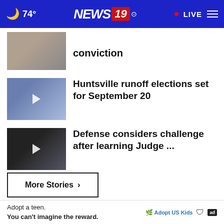74° NEWS 19 • LIVE
conviction
Huntsville runoff elections set for September 20
Defense considers challenge after learning Judge ...
More Stories ›
[Figure (advertisement): Dollar General Literacy Foundation ad with text NO ONE]
Adopt a teen. You can't imagine the reward.